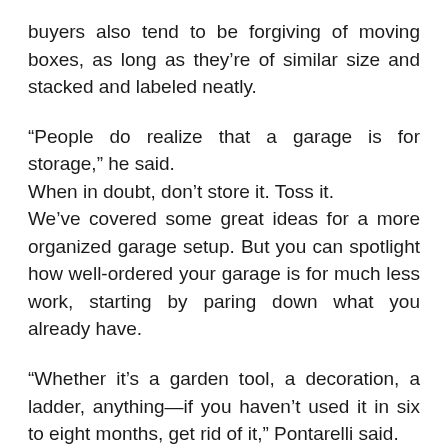buyers also tend to be forgiving of moving boxes, as long as they’re of similar size and stacked and labeled neatly.
“People do realize that a garage is for storage,” he said.
When in doubt, don’t store it. Toss it.
We’ve covered some great ideas for a more organized garage setup. But you can spotlight how well-ordered your garage is for much less work, starting by paring down what you already have.
“Whether it’s a garden tool, a decoration, a ladder, anything—if you haven’t used it in six to eight months, get rid of it,” Pontarelli said.
“That in itself will declutter the garage to the point